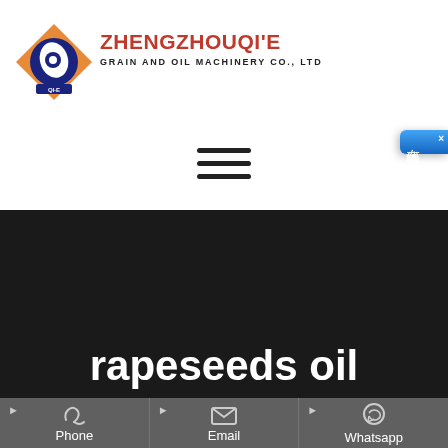[Figure (logo): Zhengzhou Qi'E Grain and Oil Machinery Co., Ltd logo with diamond/eye icon in orange and blue]
ZHENGZHOUQI'E
GRAIN AND OIL MACHINERY CO., LTD
[Figure (other): Hamburger menu icon with three horizontal lines]
[Figure (other): Online chat button (在线咨询) in blue on right side]
[Figure (photo): Dark background image section]
rapeseeds oil
[Figure (infographic): Contact bar with Phone, Email, and Whatsapp icons and labels]